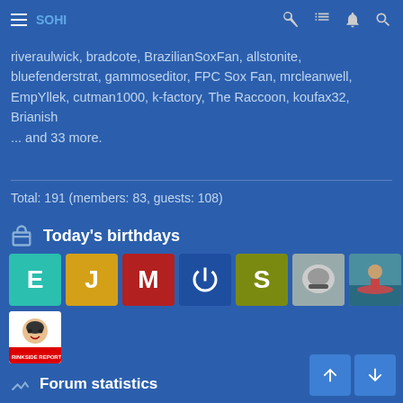SOHI (navigation bar with menu, title, and icons)
riveraulwick, bradcote, BrazilianSoxFan, allstonite, bluefenderstrat, gammoseditor, FPC Sox Fan, mrcleanwell, EmpYllek, cutman1000, k-factory, The Raccoon, koufax32, Brianish
... and 33 more.
Total: 191 (members: 83, guests: 108)
Today's birthdays
[Figure (illustration): Row of user avatars: teal E, yellow J, red M, dark blue power-icon circle, olive S, photo of football helmet, photo of kayaker in water, and a second row with a hockey-themed avatar image]
Forum statistics
Threads:
Messages:
Members: